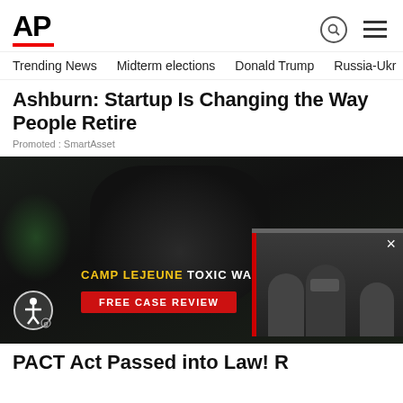AP
Trending News   Midterm elections   Donald Trump   Russia-Ukr
Ashburn: Startup Is Changing the Way People Retire
Promoted : SmartAsset
[Figure (photo): Advertisement image showing military boots with dog tags over dark background. Text overlay reads: CAMP LEJEUNE TOXIC WA[TER] FREE CASE REVIEW. Also shows a popup video overlay with people in masks, with a close (X) button.]
PACT Act Passed into Law! R